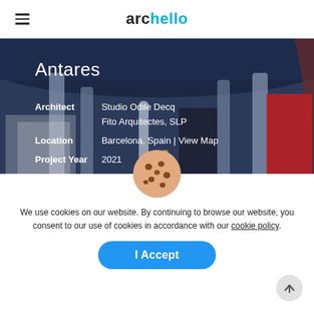archello
[Figure (photo): Interior architectural photograph showing columns, curved walls, and colorful art panels including red and white elements, dark blue overhead structure]
Antares
| Label | Value |
| --- | --- |
| Architect | Studio Odile Decq |
|  | Fito Arquitets, SLP |
| Location | Barcelona, Spain | View Map |
| Project Year | 2021 |
| Category | Apartments |
[Figure (illustration): Cookie icon — round tan/beige circle with brown chocolate chip dots]
We use cookies on our website. By continuing to browse our website, you consent to our use of cookies in accordance with our cookie policy.
I Accept